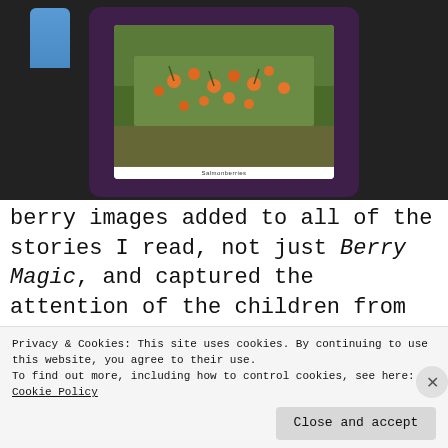[Figure (photo): A hand holding a purple tablet/iPad case showing an image of salmonberries (orange berries on green shrubs) on the screen, with a label 'Salmonberries' at the bottom of the screen image. Dark background.]
berry images added to all of the stories I read, not just Berry Magic, and captured the attention of the children from the start. I also added text to the bottom of the images and pointed to the words as I read
Privacy & Cookies: This site uses cookies. By continuing to use this website, you agree to their use.
To find out more, including how to control cookies, see here:
Cookie Policy
Close and accept